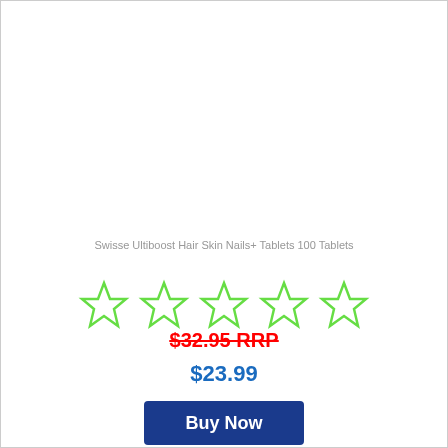Swisse Ultiboost Hair Skin Nails+ Tablets 100 Tablets
[Figure (other): Five empty green star rating icons indicating no rating]
$32.95 RRP
$23.99
Buy Now